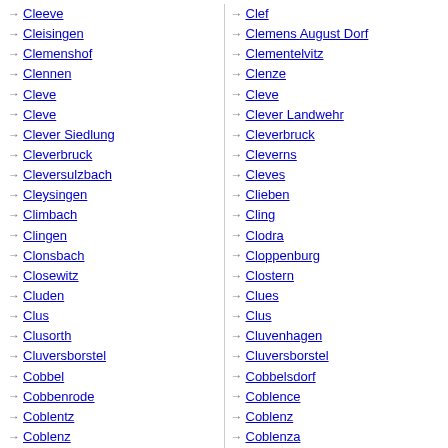→ Cleeve
→ Cleisingen
→ Clemenshof
→ Clennen
→ Cleve
→ Cleve
→ Clever Siedlung
→ Cleverbruck
→ Cleversulzbach
→ Cleysingen
→ Climbach
→ Clingen
→ Clonsbach
→ Closewitz
→ Cluden
→ Clus
→ Clusorth
→ Cluversborstel
→ Cobbel
→ Cobbenrode
→ Coblentz
→ Coblenz
→ Cobstadt
→ Clef
→ Clemens August Dorf
→ Clementelvitz
→ Clenze
→ Cleve
→ Clever Landwehr
→ Cleverbruck
→ Cleverns
→ Cleves
→ Clieben
→ Cling
→ Clodra
→ Cloppenburg
→ Clostern
→ Clues
→ Clus
→ Cluvenhagen
→ Cluversborstel
→ Cobbelsdorf
→ Coblence
→ Coblenz
→ Coblenza
→ CobstAdt